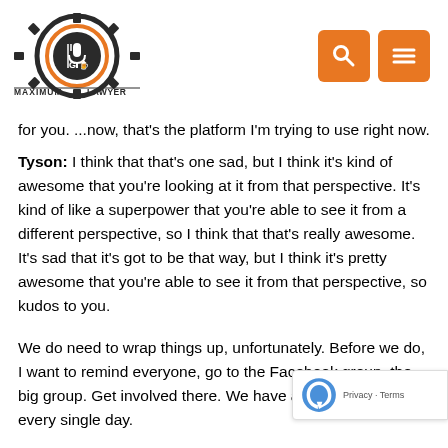Maximum Lawyer [logo] [search icon] [menu icon]
for you. ...now, that's the platform I'm trying to use right now.
Tyson: I think that that's one sad, but I think it's kind of awesome that you're looking at it from that perspective. It's kind of like a superpower that you're able to see it from a different perspective, so I think that that's really awesome. It's sad that it's got to be that way, but I think it's pretty awesome that you're able to see it from that perspective, so kudos to you.
We do need to wrap things up, unfortunately. Before we do, I want to remind everyone, go to the Facebook group, the big group. Get involved there. We have a lot of great activity every single day.
If you want to join us in The Guild, go to maxlawguild.com. [...] out the details there. Just a lot of high-level information, a lot of